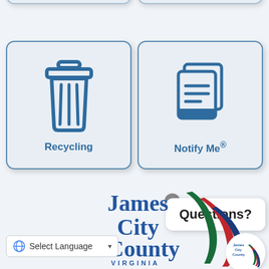[Figure (screenshot): James City County government app interface showing two partial card stubs at top, two full button cards: Recycling (trash can icon) and Notify Me® (document/notification icon), a Questions? chat bubble with close button, James City County Virginia logo with colorful swoosh graphic, a language selector dropdown, and a circular James City County emblem]
Recycling
Notify Me®
Questions?
Select Language
James City County VIRGINIA